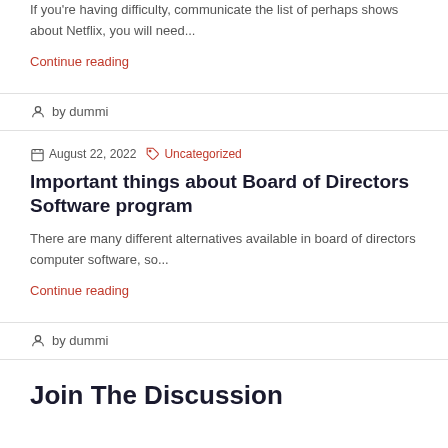If you're having difficulty, communicate the list of perhaps shows about Netflix, you will need...
Continue reading
by dummi
August 22, 2022   Uncategorized
Important things about Board of Directors Software program
There are many different alternatives available in board of directors computer software, so...
Continue reading
by dummi
Join The Discussion